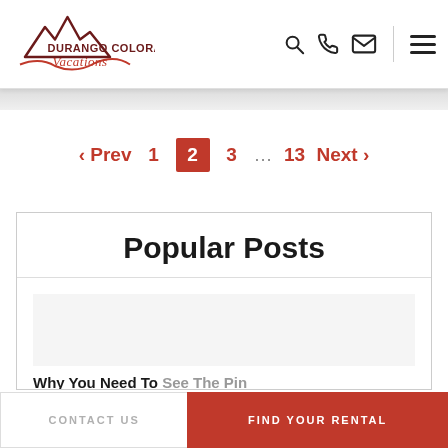[Figure (logo): Durango Colorado Vacations logo with mountain silhouette and cursive text]
< Prev   1   2   3   ...   13   Next >
Popular Posts
Why You Need To See The Pin...
CONTACT US
FIND YOUR RENTAL